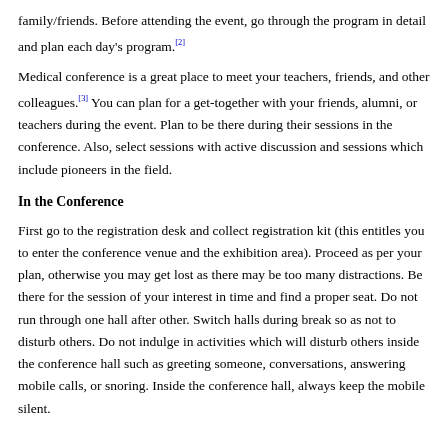family/friends. Before attending the event, go through the program in detail and plan each day's program.[2]
Medical conference is a great place to meet your teachers, friends, and other colleagues.[3] You can plan for a get-together with your friends, alumni, or teachers during the event. Plan to be there during their sessions in the conference. Also, select sessions with active discussion and sessions which include pioneers in the field.
In the Conference
First go to the registration desk and collect registration kit (this entitles you to enter the conference venue and the exhibition area). Proceed as per your plan, otherwise you may get lost as there may be too many distractions. Be there for the session of your interest in time and find a proper seat. Do not run through one hall after other. Switch halls during break so as not to disturb others. Do not indulge in activities which will disturb others inside the conference hall such as greeting someone, conversations, answering mobile calls, or snoring. Inside the conference hall, always keep the mobile silent.